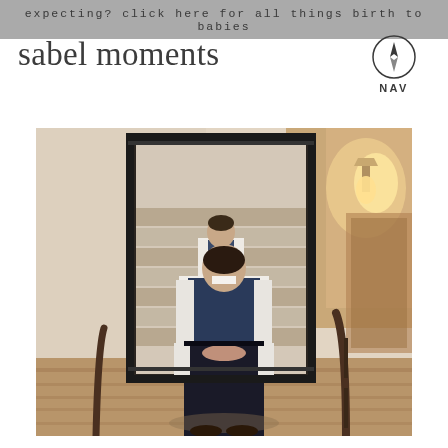expecting? click here for all things birth to babies
sabel moments
[Figure (photo): A groom in a dark vest and white shirt stands at the bottom of a staircase looking at his reflection in a large ornate black-framed floor mirror. The reflection shows his face looking down. A warm wall sconce light is visible on the right side. The staircase has wood floors and a dark handrail.]
[Figure (logo): Navigation compass icon with the text NAV below it]